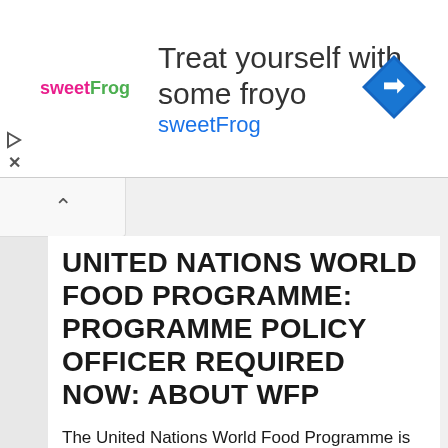[Figure (other): sweetFrog frozen yogurt advertisement banner with logo, headline 'Treat yourself with some froyo', brand name 'sweetFrog', and a blue diamond navigation icon on the right.]
UNITED NATIONS WORLD FOOD PROGRAMME: PROGRAMME POLICY OFFICER REQUIRED NOW: ABOUT WFP
The United Nations World Food Programme is the world's largest humanitarian agency fighting hunger worldwide. The mission of WFP is to help the world achieve Zero Hunger in our lifetimes. Every day, WFP